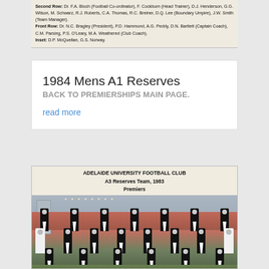[Figure (photo): Top portion of a team photo caption listing rows of names including Second Row, Front Row, and Insert lines for an Adelaide University Football Club team.]
1984 Mens A1 Reserves
BACK TO PREMIERSHIPS MAIN PAGE.
read more
[Figure (photo): Adelaide University Football Club A3 Reserves Team, 1983 Premiers — a team photograph showing three rows of players in black and white V-neck football guernseys, taken outdoors on a football oval.]